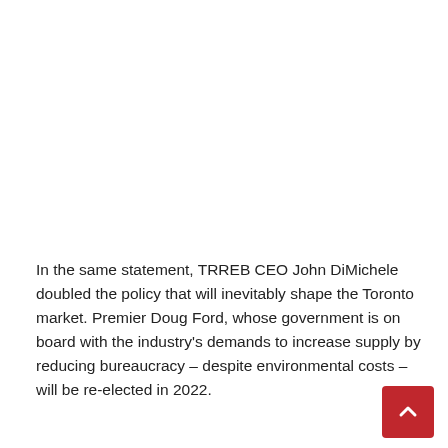In the same statement, TRREB CEO John DiMichele doubled the policy that will inevitably shape the Toronto market. Premier Doug Ford, whose government is on board with the industry's demands to increase supply by reducing bureaucracy – despite environmental costs – will be re-elected in 2022.